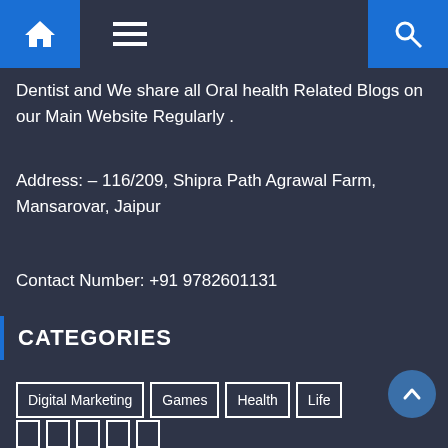Home | Menu | Search
Dentist and We share all Oral health Related Blogs on our Main Website Regularly .
Address:  – 116/209, Shipra Path Agrawal Farm, Mansarovar, Jaipur
Contact Number: +91 9782601131
CATEGORIES
Digital Marketing
Games
Health
Life